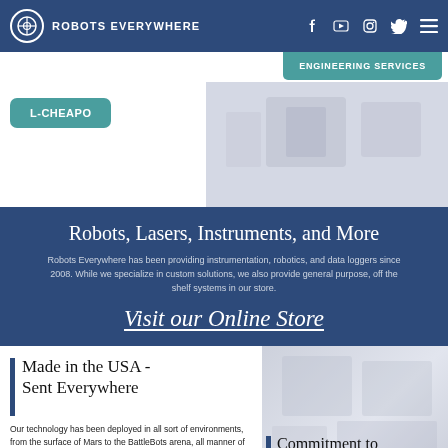ROBOTS EVERYWHERE
ENGINEERING SERVICES
L-CHEAPO
Robots, Lasers, Instruments, and More
Robots Everywhere has been providing instrumentation, robotics, and data loggers since 2008. While we specialize in custom solutions, we also provide general purpose, off the shelf systems in our store.
Visit our Online Store
Made in the USA - Sent Everywhere
Our technology has been deployed in all sort of environments, from the surface of Mars to the BattleBots arena, all manner of deserts, in and on the ocean, into space – even to kindergarten! Our designs can withstand any challenge.
Commitment to Makers